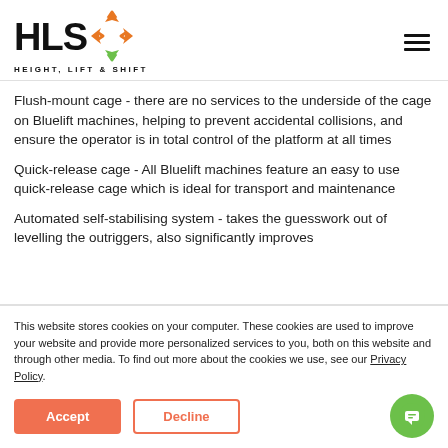HLS HEIGHT, LIFT & SHIFT
Flush-mount cage - there are no services to the underside of the cage on Bluelift machines, helping to prevent accidental collisions, and ensure the operator is in total control of the platform at all times
Quick-release cage - All Bluelift machines feature an easy to use quick-release cage which is ideal for transport and maintenance
Automated self-stabilising system - takes the guesswork out of levelling the outriggers, also significantly improves
This website stores cookies on your computer. These cookies are used to improve your website and provide more personalized services to you, both on this website and through other media. To find out more about the cookies we use, see our Privacy Policy.